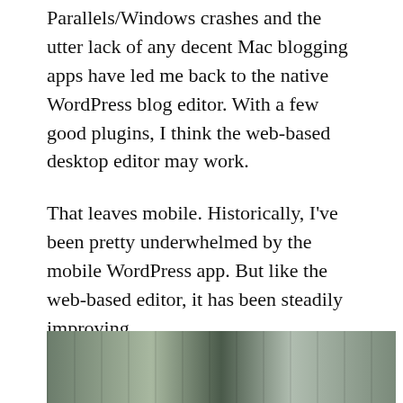Parallels/Windows crashes and the utter lack of any decent Mac blogging apps have led me back to the native WordPress blog editor. With a few good plugins, I think the web-based desktop editor may work.
That leaves mobile. Historically, I've been pretty underwhelmed by the mobile WordPress app. But like the web-based editor, it has been steadily improving.
The lack of plugins, especially Post Snippets, is a drag. Adding links has gotten easier, but it's never going to be really easy on a tablet.
Images are still hard.
[Figure (photo): Outdoor photo showing people and trees/cars in the background, partially visible at the bottom of the page]